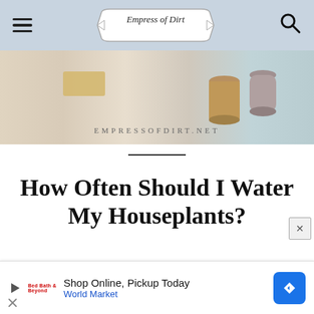Empress of Dirt — EMPRESSOFDIRT.NET
[Figure (photo): Hero banner image showing decorative vases and objects on a light surface, with EMPRESSOFDIRT.NET text overlaid]
How Often Should I Water My Houseplants?
[Figure (photo): Close-up photo of tall green grass-like houseplant leaves, some with brown tips]
Shop Online, Pickup Today
World Market